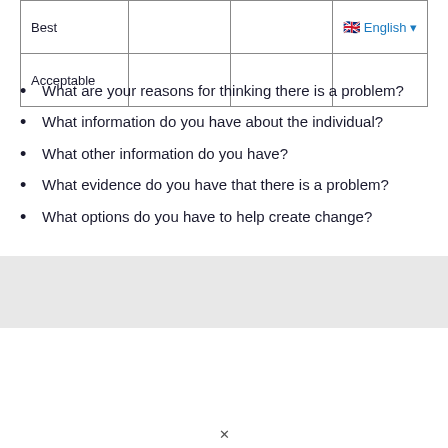| Best |  |  | 🇬🇧 English ▾ |
| Acceptable |  |  |  |
What are your reasons for thinking there is a problem?
What information do you have about the individual?
What other information do you have?
What evidence do you have that there is a problem?
What options do you have to help create change?